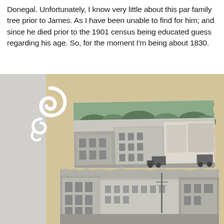Donegal.  Unfortunately, I know very little about this part of the family tree prior to James.  As I have been unable to find for him; and since he died prior to the 1901 census being educated guess regarding his age.  So, for the moment I'm being about 1830.
[Figure (photo): A scrapbook-style layout on a tan/beige background featuring two black and white historical photographs of what appears to be an Irish town (likely in County Donegal). The top photograph shows a street view with multi-storey buildings and hills with trees in the background. The bottom photograph shows a street scene with buildings on both sides. A decorative white swirl/flourish ornament is overlaid on the left side of the composition.]